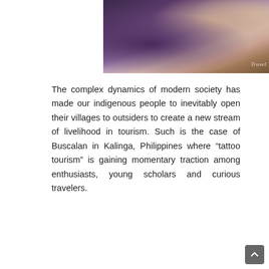[Figure (photo): Close-up photo of a tattoo being applied, showing blue/purple tattoo ink and skin, with 'Travel Trilogy' watermark in bottom right corner]
The complex dynamics of modern society has made our indigenous people to inevitably open their villages to outsiders to create a new stream of livelihood in tourism. Such is the case of Buscalan in Kalinga, Philippines where “tattoo tourism” is gaining momentary traction among enthusiasts, young scholars and curious travelers.
[Figure (photo): Close-up photo of hands performing a traditional tattoo technique, showing dark hands holding tattooing tools against skin, with high contrast lighting]